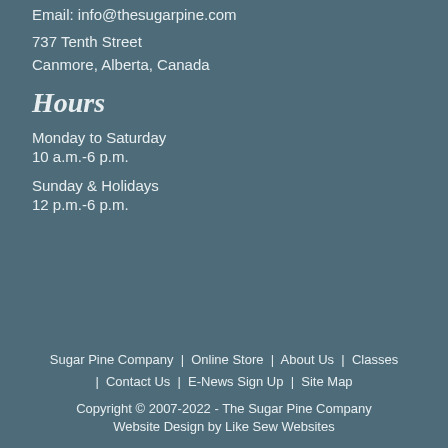Email: info@thesugarpine.com
737 Tenth Street
Canmore, Alberta, Canada
Hours
Monday to Saturday
10 a.m.-6 p.m.
Sunday & Holidays
12 p.m.-6 p.m.
Sugar Pine Company  |  Online Store  |  About Us  |  Classes  |  Contact Us  |  E-News Sign Up  |  Site Map
Copyright © 2007-2022 - The Sugar Pine Company
Website Design by Like Sew Websites